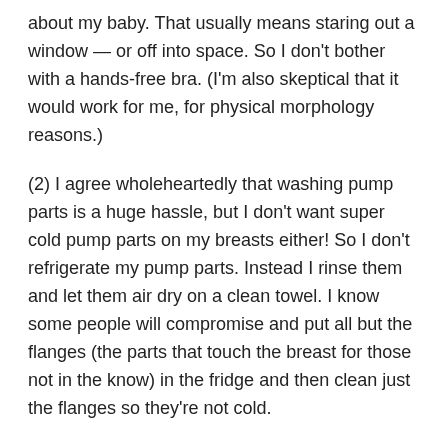about my baby. That usually means staring out a window — or off into space. So I don't bother with a hands-free bra. (I'm also skeptical that it would work for me, for physical morphology reasons.)
(2) I agree wholeheartedly that washing pump parts is a huge hassle, but I don't want super cold pump parts on my breasts either! So I don't refrigerate my pump parts. Instead I rinse them and let them air dry on a clean towel. I know some people will compromise and put all but the flanges (the parts that touch the breast for those not in the know) in the fridge and then clean just the flanges so they're not cold.
I do have two sets of pump parts and keep them